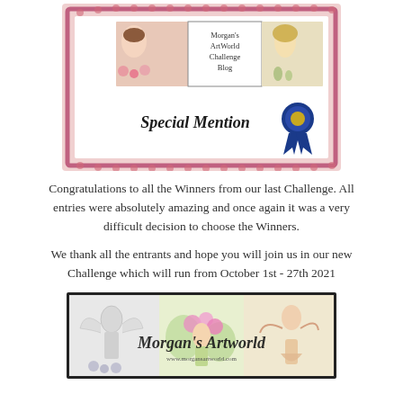[Figure (illustration): Morgan's ArtWorld Challenge Blog Special Mention certificate/badge with decorative pink border, two illustrated female figures, and a blue ribbon award rosette]
Congratulations to all the Winners from our last Challenge. All entries were absolutely amazing and once again it was a very difficult decision to choose the Winners.

We thank all the entrants and hope you will join us in our new Challenge which will run from October 1st - 27th 2021
[Figure (illustration): Morgan's Artworld banner with fairy/fantasy illustrations and cursive logo text]